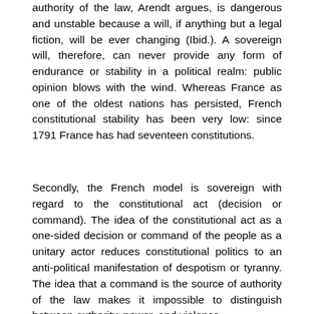authority of the law, Arendt argues, is dangerous and unstable because a will, if anything but a legal fiction, will be ever changing (Ibid.). A sovereign will, therefore, can never provide any form of endurance or stability in a political realm: public opinion blows with the wind. Whereas France as one of the oldest nations has persisted, French constitutional stability has been very low: since 1791 France has had seventeen constitutions.
Secondly, the French model is sovereign with regard to the constitutional act (decision or command). The idea of the constitutional act as a one-sided decision or command of the people as a unitary actor reduces constitutional politics to an anti-political manifestation of despotism or tyranny. The idea that a command is the source of authority of the law makes it impossible to distinguish between authority, power, and violence